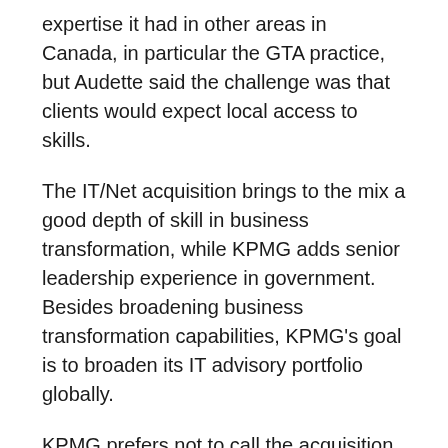expertise it had in other areas in Canada, in particular the GTA practice, but Audette said the challenge was that clients would expect local access to skills.
The IT/Net acquisition brings to the mix a good depth of skill in business transformation, while KPMG adds senior leadership experience in government. Besides broadening business transformation capabilities, KPMG's goal is to broaden its IT advisory portfolio globally.
KPMG prefers not to call the acquisition an integration. Rather, the goal of the “operations and alignment project” is to allow IT/Net to operate as a wholly-owned subsidiary and take the best of both organizations in terms of systems, people processes, and business processes, said Ken Cochrane, senior leader with KPMG’s IT advisory services group.